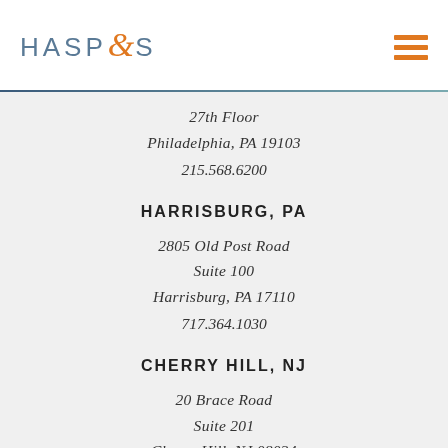[Figure (logo): HASP&S law firm logo with orange ampersand and blue/gray letters, plus orange hamburger menu icon]
27th Floor
Philadelphia, PA 19103
215.568.6200
HARRISBURG, PA
2805 Old Post Road
Suite 100
Harrisburg, PA 17110
717.364.1030
CHERRY HILL, NJ
20 Brace Road
Suite 201
Cherry Hill, NJ 08034